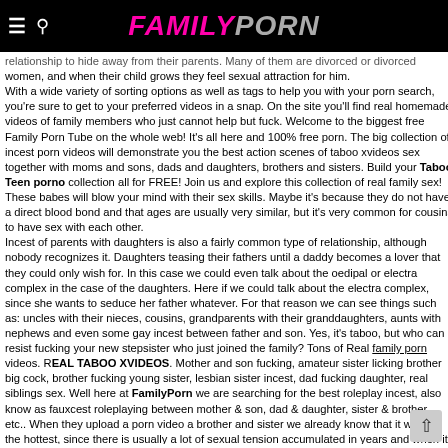FAMILYPORN
relationship to hide away from their parents. Many of them are divorced or divorced women, and when their child grows they feel sexual attraction for him. With a wide variety of sorting options as well as tags to help you with your porn search, you're sure to get to your preferred videos in a snap. On the site you'll find real homemade videos of family members who just cannot help but fuck. Welcome to the biggest free Family Porn Tube on the whole web! It's all here and 100% free porn. The big collection of incest porn videos will demonstrate you the best action scenes of taboo xvideos sex together with moms and sons, dads and daughters, brothers and sisters. Build your Taboo Teen porno collection all for FREE! Join us and explore this collection of real family sex! These babes will blow your mind with their sex skills. Maybe it's because they do not have a direct blood bond and that ages are usually very similar, but it's very common for cousins to have sex with each other. Incest of parents with daughters is also a fairly common type of relationship, although nobody recognizes it. Daughters teasing their fathers until a daddy becomes a lover that they could only wish for. In this case we could even talk about the oedipal or electra complex in the case of the daughters. Here if we could talk about the electra complex, since she wants to seduce her father whatever. For that reason we can see things such as: uncles with their nieces, cousins, grandparents with their granddaughters, aunts with nephews and even some gay incest between father and son. Yes, it's taboo, but who can resist fucking your new stepsister who just joined the family? Tons of Real family porn videos. REAL TABOO XVIDEOS. Mother and son fucking, amateur sister licking brother big cock, brother fucking young sister, lesbian sister incest, dad fucking daughter, real siblings sex. Well here at FamilyPorn we are searching for the best roleplay incest, also know as fauxcest roleplaying between mother & son, dad & daughter, sister & brother, etc.. When they upload a porn video a brother and sister we already know that it will be the hottest, since there is usually a lot of sexual tension accumulated in years and when it comes out it explodes totally. View Taboo Videos and every kind of Taboo sex could want - and it will always be free!